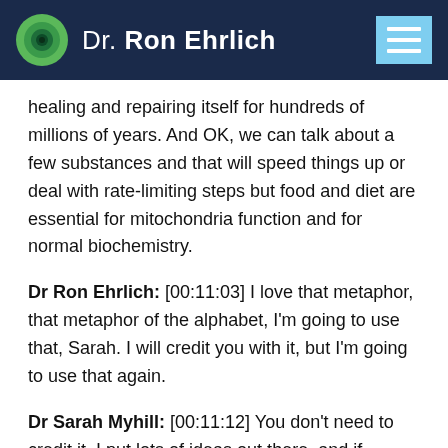Dr. Ron Ehrlich
healing and repairing itself for hundreds of millions of years. And OK, we can talk about a few substances and that will speed things up or deal with rate-limiting steps but food and diet are essential for mitochondria function and for normal biochemistry.
Dr Ron Ehrlich: [00:11:03] I love that metaphor, that metaphor of the alphabet, I'm going to use that, Sarah. I will credit you with it, but I'm going to use that again.
Dr Sarah Myhill: [00:11:12] You don't need to credit it. I put lots of ideas out there, and if